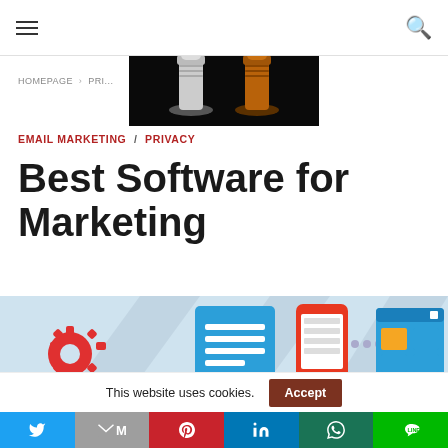Navigation header with hamburger menu and search icon
[Figure (photo): Close-up photo of two chess pieces (silver and copper/gold colored knight or bishop pieces) on a black background]
HOMEPAGE > PRI...
EMAIL MARKETING / PRIVACY
Best Software for Marketing
[Figure (illustration): Flat design marketing software illustration showing gear icon, email/document icon, mobile phone with content, and a web browser window with colored tiles, on a light blue background with long shadow style]
This website uses cookies.   Accept
Social sharing bar: Twitter, Gmail/Mail, Pinterest, LinkedIn, WhatsApp, Line